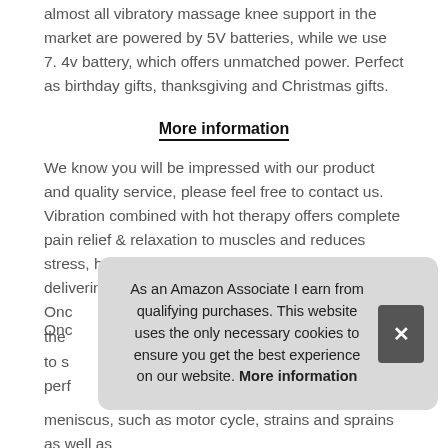almost all vibratory massage knee support in the market are powered by 5V batteries, while we use 7. 4v battery, which offers unmatched power. Perfect as birthday gifts, thanksgiving and Christmas gifts.
More information
We know you will be impressed with our product and quality service, please feel free to contact us. Vibration combined with hot therapy offers complete pain relief & relaxation to muscles and reduces stress, helps accelerate recovery from injuries while delivering targeted relief from pain for either Knee.
Once the the to s perf meniscus, such as motor cycle, strains and sprains as well as
As an Amazon Associate I earn from qualifying purchases. This website uses the only necessary cookies to ensure you get the best experience on our website. More information